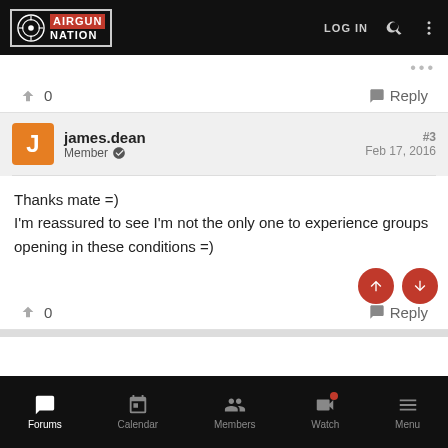[Figure (screenshot): Airgun Nation website header with logo, LOG IN, search, and menu icons on black background]
0   ↑   Reply
james.dean
Member
#3
Feb 17, 2016
Thanks mate =)
I'm reassured to see I'm not the only one to experience groups opening in these conditions =)
0   Reply
[Figure (screenshot): Bottom navigation bar with Forums, Calendar, Members, Watch (with red dot), Menu icons on black background]